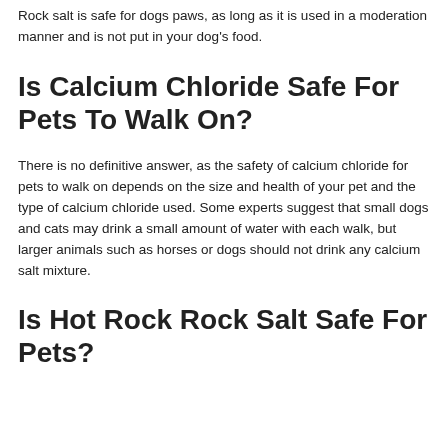Rock salt is safe for dogs paws, as long as it is used in a moderation manner and is not put in your dog's food.
Is Calcium Chloride Safe For Pets To Walk On?
There is no definitive answer, as the safety of calcium chloride for pets to walk on depends on the size and health of your pet and the type of calcium chloride used. Some experts suggest that small dogs and cats may drink a small amount of water with each walk, but larger animals such as horses or dogs should not drink any calcium salt mixture.
Is Hot Rock Rock Salt Safe For Pets?